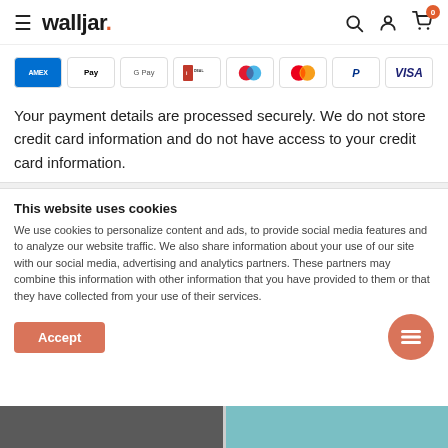walljar. — navigation bar with hamburger menu, logo, search, account, and cart icons
[Figure (other): Payment method icons: AMEX, Apple Pay, Google Pay, iDEAL, Maestro, Mastercard, PayPal, VISA]
Your payment details are processed securely. We do not store credit card information and do not have access to your credit card information.
This website uses cookies
We use cookies to personalize content and ads, to provide social media features and to analyze our website traffic. We also share information about your use of our site with our social media, advertising and analytics partners. These partners may combine this information with other information that you have provided to them or that they have collected from your use of their services.
Accept